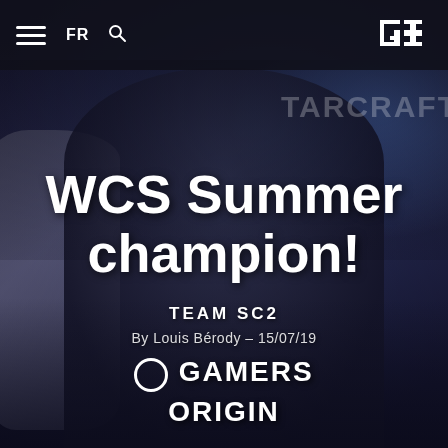[Figure (photo): A person wearing a Red Bull cap and dark Gamers Origin t-shirt holding a large trophy, with StarCraft branding visible in the background. Blue-tinted esports event background.]
FR  [search icon]  [Gamers Origin logo]
WCS Summer champion!
TEAM SC2
By Louis Bérody - 15/07/19
GAMERS ORIGIN